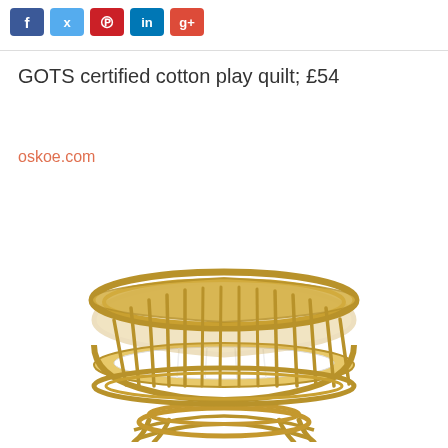f  t  p  in  g+
GOTS certified cotton play quilt; £54
oskoe.com
[Figure (photo): A rattan/wicker oval baby bassinet/cradle with vertical spindles forming the sides, a white mattress or lining visible at the bottom, and curved rattan legs supporting the base. Natural light wood tone.]